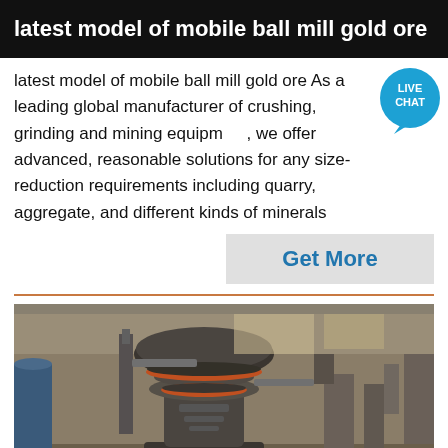latest model of mobile ball mill gold ore
latest model of mobile ball mill gold ore As a leading global manufacturer of crushing, grinding and mining equipment, we offer advanced, reasonable solutions for any size-reduction requirements including quarry, aggregate, and different kinds of minerals
[Figure (photo): Industrial ball mill machine inside a factory/warehouse setting]
Get More